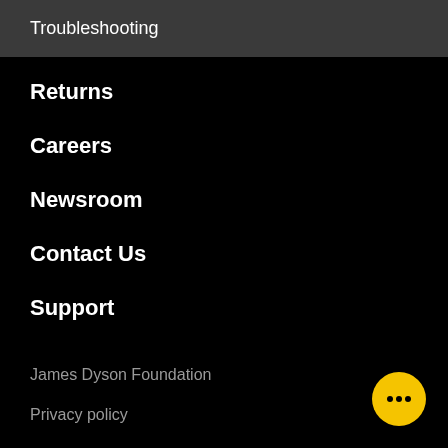Troubleshooting
Returns
Careers
Newsroom
Contact Us
Support
James Dyson Foundation
Privacy policy
Accessibility Statement
Terms and conditions
Cookies policy
Sitemap
AM04/AM05 safety recall